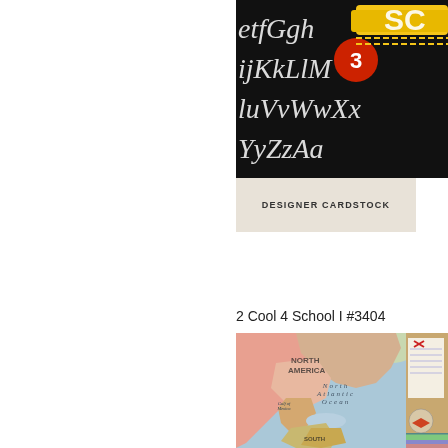[Figure (photo): Partial view of designer cardstock with cursive alphabet lettering on black background, with school-themed elements including a yellow school bus, red number 3, and text 'SC' visible]
DESIGNER CARDSTOCK
2 Cool 4 School I #3404
[Figure (photo): Vintage-style world map showing North America, South America, Caribbean Sea, Gulf of Mexico, and North Atlantic Ocean, with portions of a cork bulletin board and notebook paper visible on the right side, along with stacked book spines at bottom right]